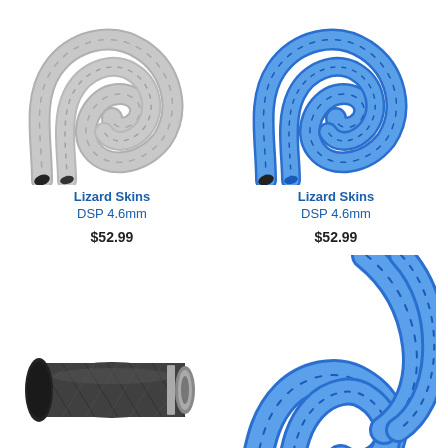[Figure (photo): Gray Lizard Skins DSP 4.6mm handlebar tape wrapped in S-curve shape]
Lizard Skins
DSP 4.6mm
$52.99
[Figure (photo): Blue Lizard Skins DSP 4.6mm handlebar tape wrapped in S-curve shape]
Lizard Skins
DSP 4.6mm
$52.99
[Figure (photo): Black carbon fiber bicycle handlebar grip/plug]
[Figure (photo): Blue Lizard Skins handlebar tape partial S-curve, bottom right of page]